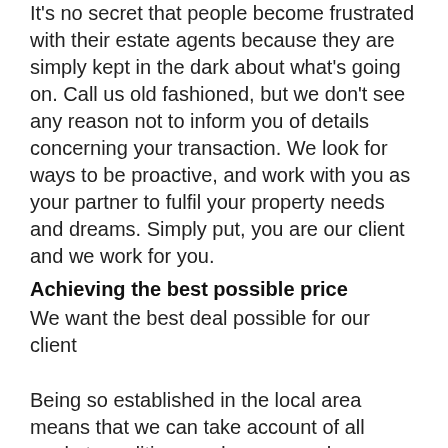It's no secret that people become frustrated with their estate agents because they are simply kept in the dark about what's going on. Call us old fashioned, but we don't see any reason not to inform you of details concerning your transaction. We look for ways to be proactive, and work with you as your partner to fulfil your property needs and dreams. Simply put, you are our client and we work for you.
Achieving the best possible price
We want the best deal possible for our client
Being so established in the local area means that we can take account of all market conditions and nuances when valuing properties. By promoting your home positively and proactively to our thousands of applicants we can ensure the price we achieve for your property will be the best